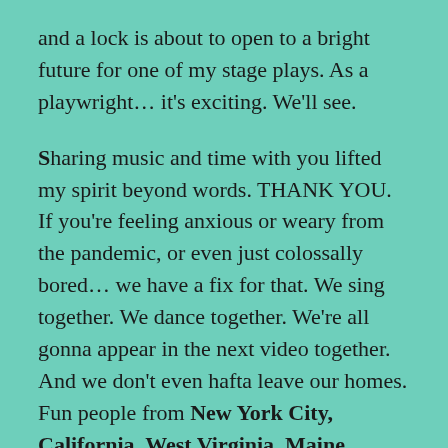and a lock is about to open to a bright future for one of my stage plays. As a playwright… it's exciting. We'll see.
Sharing music and time with you lifted my spirit beyond words. THANK YOU. If you're feeling anxious or weary from the pandemic, or even just colossally bored… we have a fix for that. We sing together. We dance together. We're all gonna appear in the next video together. And we don't even hafta leave our homes. Fun people from New York City, California, West Virginia, Maine, Missouri, Indiana, Long Island, The Netherlands, The UK, Spain, Estonia, New Jersey, Pennsylvania, Ohio, Las Vegas, North Carolina, Arkansas,